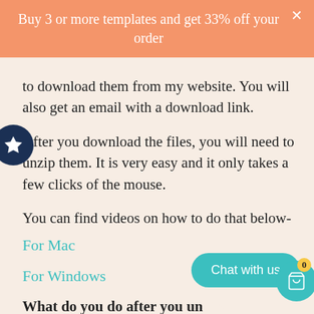Buy 3 or more templates and get 33% off your order
to download them from my website. You will also get an email with a download link.
After you download the files, you will need to unzip them. It is very easy and it only takes a few clicks of the mouse.
You can find videos on how to do that below-
For Mac
For Windows
What do you do after you un...
After you unzip it, you will up be able to see...